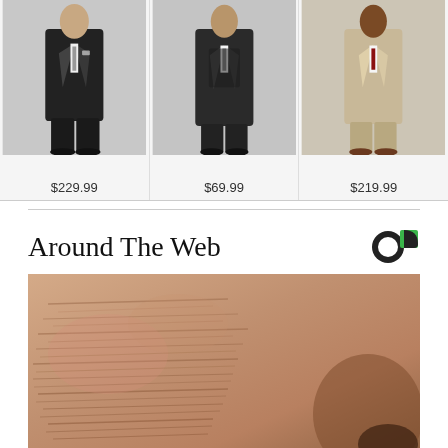[Figure (photo): Three men's suits displayed on models. Left: dark charcoal suit, Center: dark suit, Right: tan/khaki suit. Products shown from top of frame to feet.]
$229.99
$69.99
$219.99
Around The Web
[Figure (photo): Close-up photo of aged human skin showing wrinkles and texture, near nose area.]